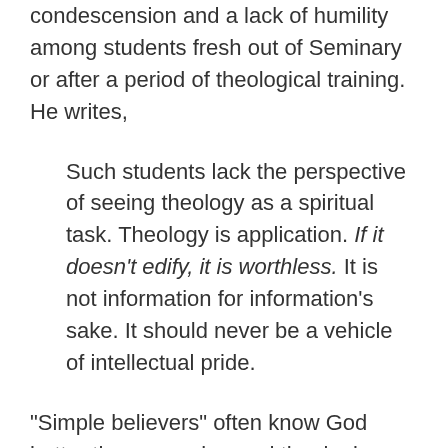condescension and a lack of humility among students fresh out of Seminary or after a period of theological training. He writes,
Such students lack the perspective of seeing theology as a spiritual task. Theology is application. If it doesn't edify, it is worthless. It is not information for information's sake. It should never be a vehicle of intellectual pride.
“Simple believers” often know God better than many learned theologians. Many who lack formal theological training are better elders and deacons than any